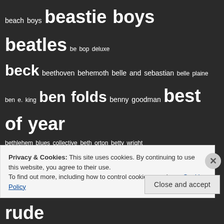beach boys beastie boys beatles be bop deluxe beck beethoven behemoth belle and sebastian belle plaine ben e. king ben folds benny goodman best of year bethlehem blues collective beth orton betty wright bidiniband bif naked big brother and the holding company big drill car big rude jake big sugar big wreck bill frisell billie holiday billie joe armstrong bill wyman billy bob thornton and the boxmasters billy boy arnold billy bragg billy f. gibbons billy idol billy ocean bird birthday party bjork black crowes black flag black keys black
Privacy & Cookies: This site uses cookies. By continuing to use this website, you agree to their use. To find out more, including how to control cookies, see here: Cookie Policy
Close and accept